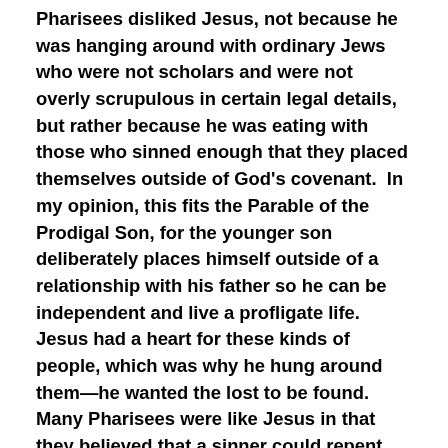Pharisees disliked Jesus, not because he was hanging around with ordinary Jews who were not scholars and were not overly scrupulous in certain legal details, but rather because he was eating with those who sinned enough that they placed themselves outside of God's covenant.  In my opinion, this fits the Parable of the Prodigal Son, for the younger son deliberately places himself outside of a relationship with his father so he can be independent and live a profligate life.  Jesus had a heart for these kinds of people, which was why he hung around them—he wanted the lost to be found.  Many Pharisees were like Jesus in that they believed that a sinner could repent, but the Pharisees' separatist rules may have hindered them from reaching out to people.